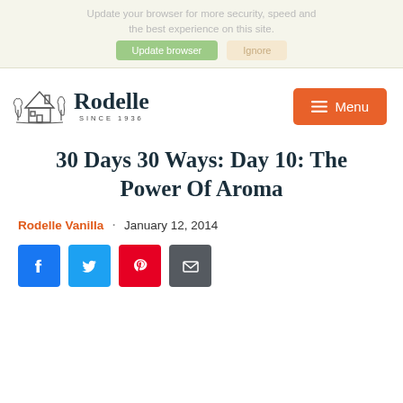Update your browser for more security, speed and the best experience on this site. | Update browser | Ignore
[Figure (logo): Rodelle brand logo with house/mountain illustration and text 'Rodelle SINCE 1936']
30 Days 30 Ways: Day 10: The Power Of Aroma
Rodelle Vanilla · January 12, 2014
[Figure (infographic): Social share buttons: Facebook, Twitter, Pinterest, Email]